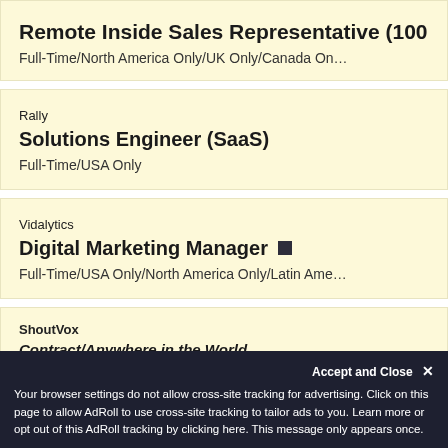Remote Inside Sales Representative (100…
Full-Time/North America Only/UK Only/Canada On…
Rally
Solutions Engineer (SaaS)
Full-Time/USA Only
Vidalytics
Digital Marketing Manager
Full-Time/USA Only/North America Only/Latin Ame…
ShoutVox
Contract/Anywhere in the World
Accept and Close ×
Your browser settings do not allow cross-site tracking for advertising. Click on this page to allow AdRoll to use cross-site tracking to tailor ads to you. Learn more or opt out of this AdRoll tracking by clicking here. This message only appears once.